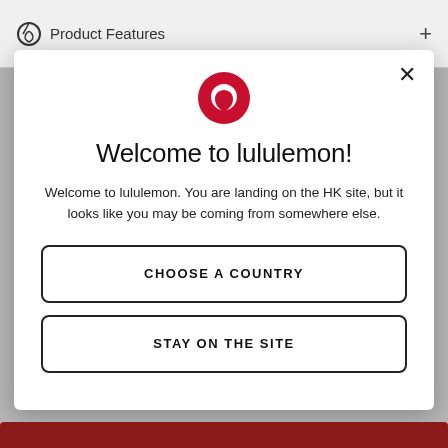Product Features
[Figure (screenshot): Lululemon website modal dialog with logo, welcome message, and two buttons: CHOOSE A COUNTRY and STAY ON THE SITE]
Welcome to lululemon!
Welcome to lululemon. You are landing on the HK site, but it looks like you may be coming from somewhere else.
CHOOSE A COUNTRY
STAY ON THE SITE